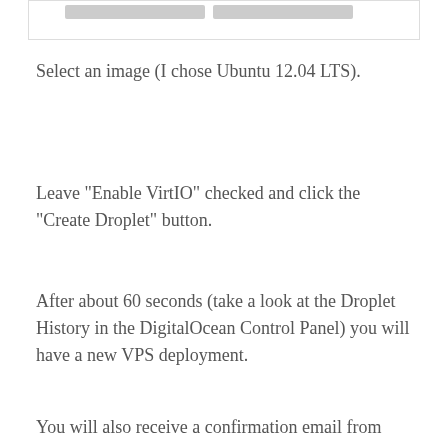[Figure (screenshot): Partial screenshot showing two grey UI bars at the top of the page]
Select an image (I chose Ubuntu 12.04 LTS).
Leave "Enable VirtIO" checked and click the "Create Droplet" button.
After about 60 seconds (take a look at the Droplet History in the DigitalOcean Control Panel) you will have a new VPS deployment.
You will also receive a confirmation email from